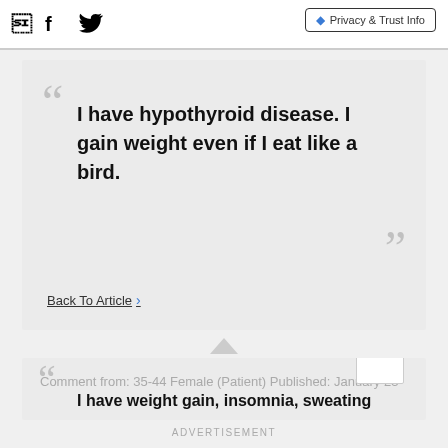Facebook | Twitter | Privacy & Trust Info
I have hypothyroid disease. I gain weight even if I eat like a bird.
Back To Article
Comment from: 35-44 Female (Patient) Published: January 23
I have weight gain, insomnia, sweating
ADVERTISEMENT